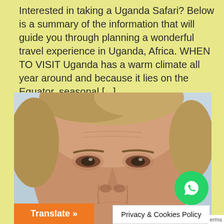Interested in taking a Uganda Safari? Below is a summary of the information that will guide you through planning a wonderful travel experience in Uganda, Africa. WHEN TO VISIT Uganda has a warm climate all year around and because it lies on the Equator, seasonal [...]
[Figure (photo): Close-up photo of a man's face with light brown hair, against a light blue background]